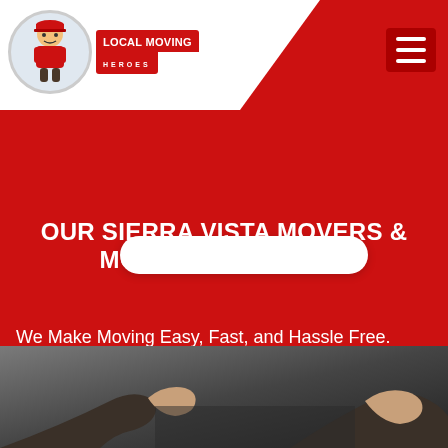[Figure (logo): Local Moving Heroes logo with cartoon mover mascot, red badge with white text 'LOCAL MOVING HEROES']
[Figure (screenshot): White search/input bar with rounded corners on red background]
[Figure (infographic): Pagination dots row - 10 dots, third one dark/active, rest white semi-transparent]
OUR SIERRA VISTA MOVERS & MOVING SOLUTIONS
We Make Moving Easy, Fast, and Hassle Free.
[Figure (photo): Partial photo at bottom showing hands, dark blurred background, appears to be mover lifting or handling items]